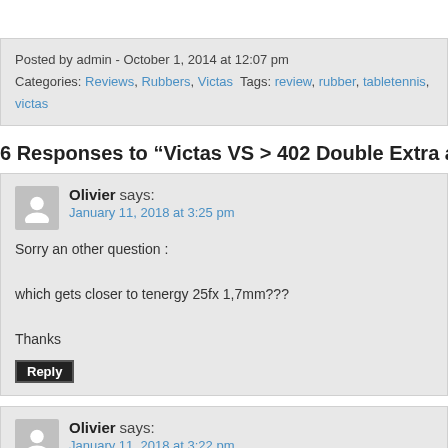Posted by admin - October 1, 2014 at 12:07 pm
Categories: Reviews, Rubbers, Victas  Tags: review, rubber, tabletennis, victas
6 Responses to “Victas VS > 402 Double Extra and VS > 402 Li…
Olivier says:
January 11, 2018 at 3:25 pm
Sorry an other question :

which gets closer to tenergy 25fx 1,7mm???

Thanks
Olivier says:
January 11, 2018 at 3:22 pm
Hi,